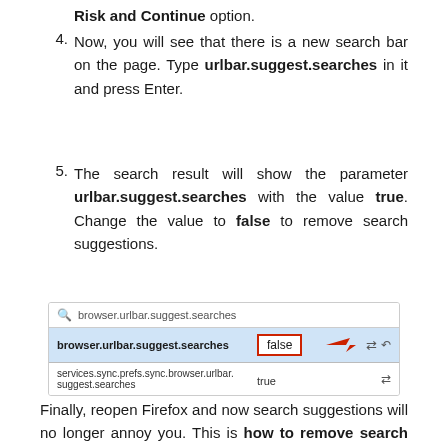Risk and Continue option.
Now, you will see that there is a new search bar on the page. Type urlbar.suggest.searches in it and press Enter.
The search result will show the parameter urlbar.suggest.searches with the value true. Change the value to false to remove search suggestions.
[Figure (screenshot): Firefox about:config search results showing browser.urlbar.suggest.searches set to false, with a red arrow pointing to the toggle button. Below it, services.sync.prefs.sync.browser.urlbar.suggest.searches shows true.]
Finally, reopen Firefox and now search suggestions will no longer annoy you. This is how to remove search suggestions in Firefox.